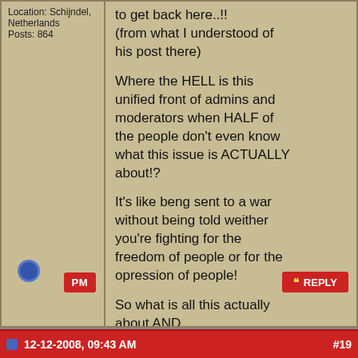Location: Schijndel, Netherlands
Posts: 864
to get back here..!!
(from what I understood of his post there)

Where the HELL is this unified front of admins and moderators when HALF of the people don't even know what this issue is ACTUALLY about!?

It's like beng sent to a war without being told weither you're fighting for the freedom of people or for the opression of people!

So what is all this actually about AND...

WHEN WILL IT END!?

___________________________
Greetings from GTX2GvO.

Member of The Victorious People's Shoutbox Liberation Army.
12-12-2008, 09:43 AM
#19